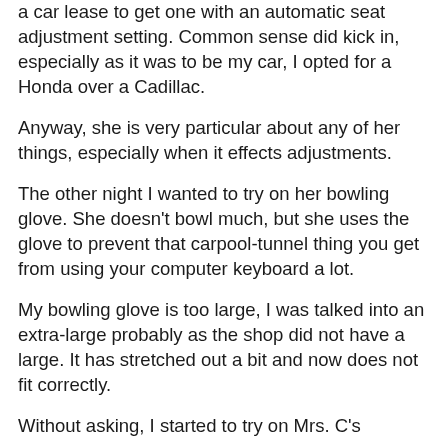a car lease to get one with an automatic seat adjustment setting.  Common sense did kick in, especially as it was to be my car, I opted for a Honda over a Cadillac.
Anyway, she is very particular about any of her things, especially when it effects adjustments.
The other night I wanted to try on her bowling glove.  She doesn't bowl much, but she uses the glove to prevent that carpool-tunnel thing you get from using your computer keyboard a lot.
My bowling glove is too large, I was talked into an extra-large probably as the shop did not have a large.  It has stretched out a bit and now does not fit correctly.
Without asking, I started to try on Mrs. C's